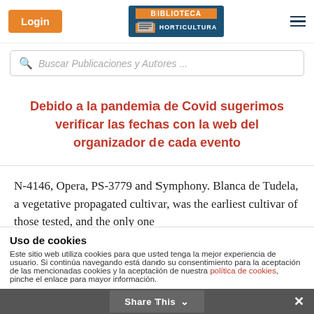Login | BIBLIOTECA HORTICULTURA
Buscar Publicaciones y Autores ...
Debido a la pandemia de Covid sugerimos verificar las fechas con la web del organizador de cada evento
N-4146, Opera, PS-3779 and Symphony. Blanca de Tudela, a vegetative propagated cultivar, was the earliest cultivar of those tested, and the only one
Uso de cookies
Este sitio web utiliza cookies para que usted tenga la mejor experiencia de usuario. Si continúa navegando está dando su consentimiento para la aceptación de las mencionadas cookies y la aceptación de nuestra política de cookies, pinche el enlace para mayor información.
Share This